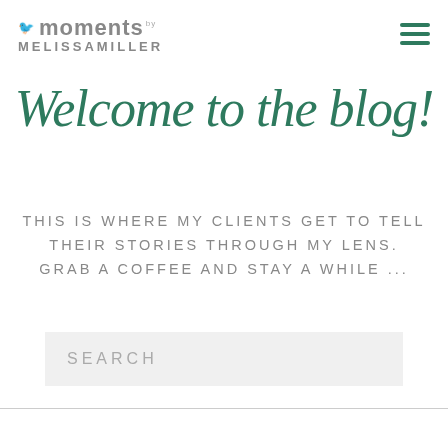[Figure (logo): Moments by Melissa Miller logo with bird icon on left and hamburger menu icon on right]
Welcome to the blog!
THIS IS WHERE MY CLIENTS GET TO TELL THEIR STORIES THROUGH MY LENS. GRAB A COFFEE AND STAY A WHILE ...
SEARCH